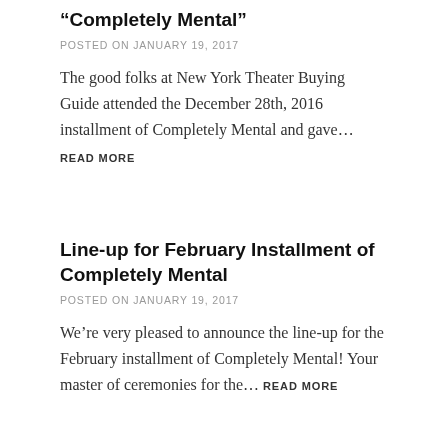“Completely Mental”
POSTED ON JANUARY 19, 2017
The good folks at New York Theater Buying Guide attended the December 28th, 2016 installment of Completely Mental and gave… READ MORE
Line-up for February Installment of Completely Mental
POSTED ON JANUARY 19, 2017
We’re very pleased to announce the line-up for the February installment of Completely Mental! Your master of ceremonies for the… READ MORE